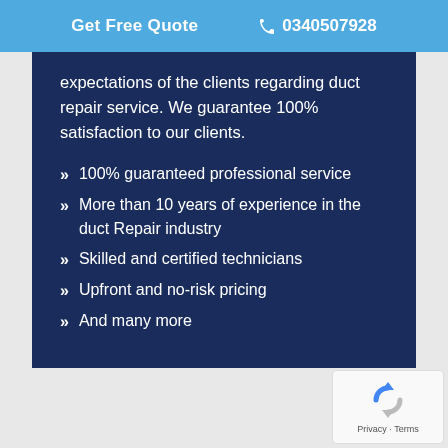Get Free Quote  0340507928
expectations of the clients regarding duct repair service. We guarantee 100% satisfaction to our clients.
100% guaranteed professional service
More than 10 years of experience in the duct Repair industry
Skilled and certified technicians
Upfront and no-risk pricing
And many more
[Figure (logo): reCAPTCHA logo with Privacy - Terms text]